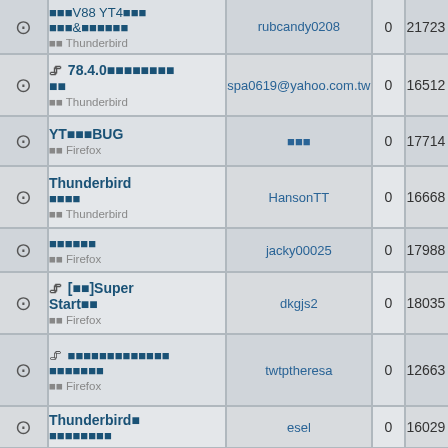|  | Title | Author | Replies | Views |
| --- | --- | --- | --- | --- |
| 🔔 | ■■■V88 YT4■■■&■■■■■■ ■■ Thunderbird | rubcandy0208 | 0 | 21723 |
| 🔔📎 | 78.4.0■■■■■■■■ ■■ Thunderbird | spa0619@yahoo.com.tw | 0 | 16512 |
| 🔔 | YT■■■BUG ■■ Firefox | ■■■ | 0 | 17714 |
| 🔔 | Thunderbird ■■■■ ■■ Thunderbird | HansonTT | 0 | 16668 |
| 🔔 | ■■■■■■ ■■ Firefox | jacky00025 | 0 | 17988 |
| 🔔📎 | [■■]Super Start■■ ■■ Firefox | dkgjs2 | 0 | 18035 |
| 🔔📎 | ■■■■■■■■■■■■■ ■■■■■■■ ■■ Firefox | twtptheresa | 0 | 12663 |
| 🔔 | Thunderbird■ ■■■■■■■■ | esel | 0 | 16029 |